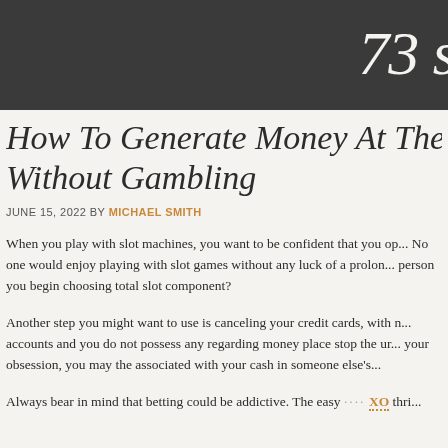73 s
How To Generate Money At The Do... Without Gambling
JUNE 15, 2022 BY MICHAEL SMITH
When you play with slot machines, you want to be confident that you op... No one would enjoy playing with slot games without any luck of a prolon... person you begin choosing total slot component?
Another step you might want to use is canceling your credit cards, with n... accounts and you do not possess any regarding money place stop the ur... your obsession, you may the associated with your cash in someone else's...
Always bear in mind that betting could be addictive. The easy .... XO thri...